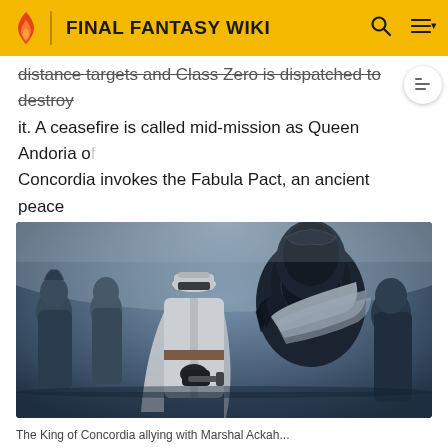FINAL FANTASY WIKI
distance targets and Class Zero is dispatched to destroy it. A ceasefire is called mid-mission as Queen Andoria of Concordia invokes the Fabula Pact, an ancient peace agreement made between the nations' peristylia rather than their governments.
[Figure (photo): Scene showing the King of Concordia with Marshal Ackah — a figure in a white military coat and cap exchanges something with a large dark-armored figure. Other armored characters stand in the background with ships visible.]
The King of Concordia allying with Marshal Ackah...